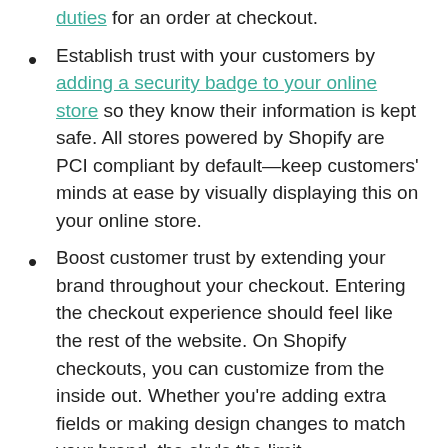duties for an order at checkout.
Establish trust with your customers by adding a security badge to your online store so they know their information is kept safe. All stores powered by Shopify are PCI compliant by default—keep customers' minds at ease by visually displaying this on your online store.
Boost customer trust by extending your brand throughout your checkout. Entering the checkout experience should feel like the rest of the website. On Shopify checkouts, you can customize from the inside out. Whether you're adding extra fields or making design changes to match your brand, the sky's the limit.